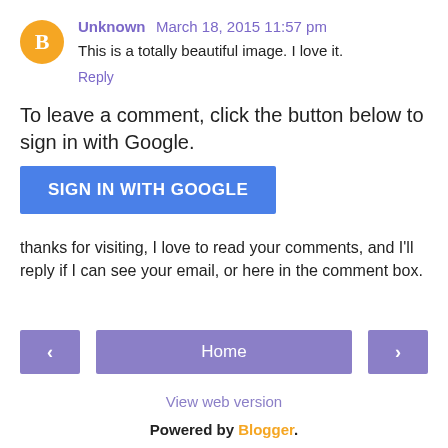Unknown March 18, 2015 11:57 pm
This is a totally beautiful image. I love it.
Reply
To leave a comment, click the button below to sign in with Google.
SIGN IN WITH GOOGLE
thanks for visiting, I love to read your comments, and I'll reply if I can see your email, or here in the comment box.
< Home >
View web version
Powered by Blogger.